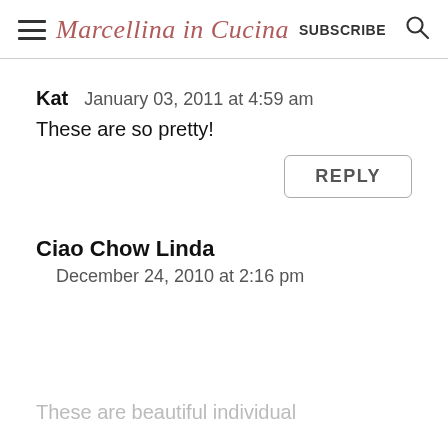Marcellina in Cucina  SUBSCRIBE
Kat   January 03, 2011 at 4:59 am
These are so pretty!
REPLY
Ciao Chow Linda
December 24, 2010 at 2:16 pm
These are beautiful individual